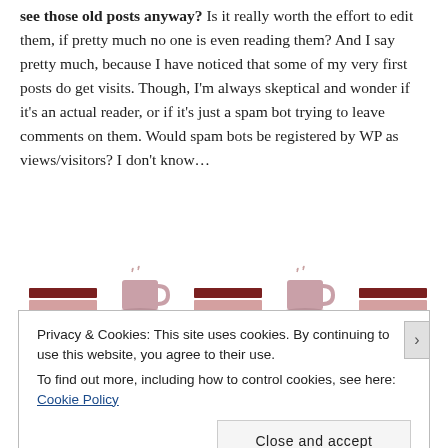see those old posts anyway? Is it really worth the effort to edit them, if pretty much no one is even reading them? And I say pretty much, because I have noticed that some of my very first posts do get visits. Though, I'm always skeptical and wonder if it's an actual reader, or if it's just a spam bot trying to leave comments on them. Would spam bots be registered by WP as views/visitors? I don't know…
[Figure (illustration): Row of five alternating icons: brown striped rectangular shapes (books/notebooks) and pink coffee cups with steam, arranged horizontally]
Privacy & Cookies: This site uses cookies. By continuing to use this website, you agree to their use.
To find out more, including how to control cookies, see here: Cookie Policy
Close and accept